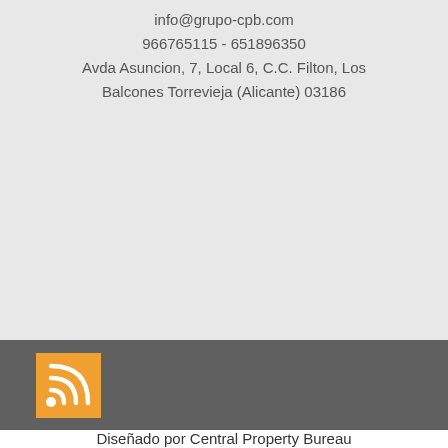info@grupo-cpb.com
966765115 - 651896350
Avda Asuncion, 7, Local 6, C.C. Filton, Los Balcones Torrevieja (Alicante) 03186
[Figure (logo): RSS feed icon — orange square with white RSS signal arcs and dot]
Diseñado por Central Property Bureau